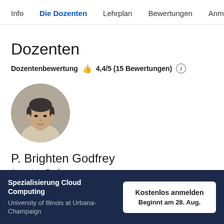Info  Die Dozenten  Lehrplan  Bewertungen  Anmelde
Dozenten
Dozentenbewertung 👍 4,4/5 (15 Bewertungen) ℹ
[Figure (photo): Circular profile photo of P. Brighten Godfrey, a man wearing a light-colored shirt]
P. Brighten Godfrey
Associate Professor
Department of Computer Science
Spezialisierung Cloud Computing
University of Illinois at Urbana-Champaign
Kostenlos anmelden
Beginnt am 28. Aug.